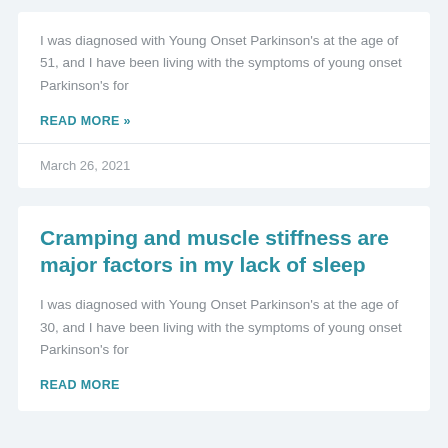I was diagnosed with Young Onset Parkinson's at the age of 51, and I have been living with the symptoms of young onset Parkinson's for
READ MORE »
March 26, 2021
Cramping and muscle stiffness are major factors in my lack of sleep
I was diagnosed with Young Onset Parkinson's at the age of 30, and I have been living with the symptoms of young onset Parkinson's for
READ MORE »